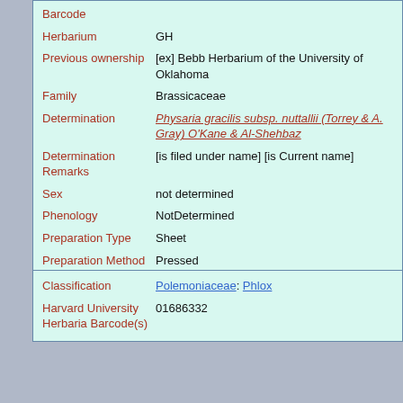| Field | Value |
| --- | --- |
| Barcode |  |
| Herbarium | GH |
| Previous ownership | [ex] Bebb Herbarium of the University of Oklahoma |
| Family | Brassicaceae |
| Determination | Physaria gracilis subsp. nuttallii (Torrey & A. Gray) O'Kane & Al-Shehbaz |
| Determination Remarks | [is filed under name] [is Current name] |
| Sex | not determined |
| Phenology | NotDetermined |
| Preparation Type | Sheet |
| Preparation Method | Pressed |
| Field | Value |
| --- | --- |
| Classification | Polemoniaceae: Phlox |
| Harvard University Herbaria Barcode(s) | 01686332 |